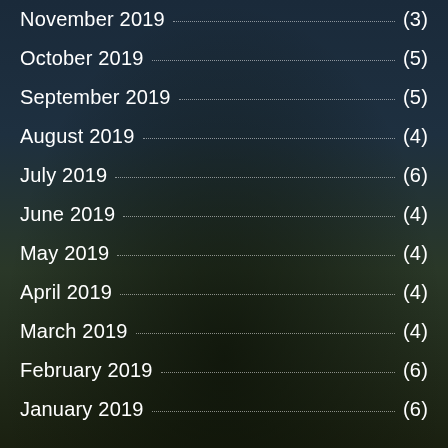November 2019 (3)
October 2019 (5)
September 2019 (5)
August 2019 (4)
July 2019 (6)
June 2019 (4)
May 2019 (4)
April 2019 (4)
March 2019 (4)
February 2019 (6)
January 2019 (6)